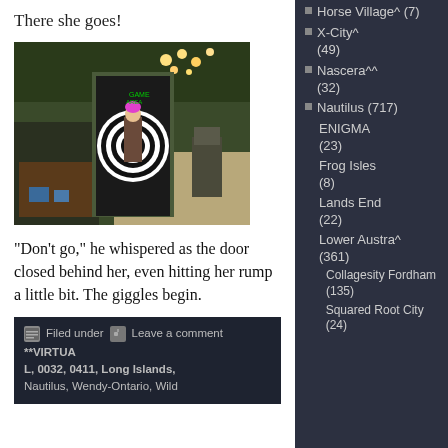There she goes!
[Figure (screenshot): Video game screenshot showing a character going through a swirling portal/door in a virtual environment. The door has a black and white spiral pattern. Another creature/character is visible to the right. The scene appears to be indoors/outdoors mix with green and sandy areas.]
“Don’t go,” he whispered as the door closed behind her, even hitting her rump a little bit. The giggles begin.
Filed under  Leave a comment **VIRTUAL, 0032, 0411, Long Islands, Nautilus, Wendy-Ontario, Wild
Horse Village^ (7)
X-City^ (49)
Nascera^^ (32)
Nautilus (717)
ENIGMA (23)
Frog Isles (8)
Lands End (22)
Lower Austra^ (361)
Collagesity Fordham (135)
Squared Root City (24)